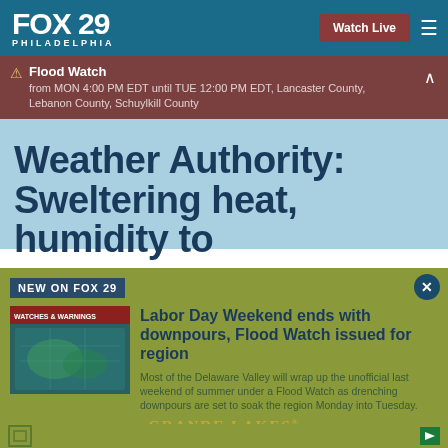FOX 29 PHILADELPHIA
Flood Watch from MON 4:00 PM EDT until TUE 12:00 PM EDT, Lancaster County, Lebanon County, Schuylkill County
Weather Authority: Sweltering heat, humidity to
NEW ON FOX 29
[Figure (screenshot): Weather map showing watches and warnings over the region]
Labor Day Weekend ends with downpours, Flood Watch issued for region
Most of the Delaware Valley will wrap up the unofficial last weekend of summer under a Flood Watch as drenching downpours are set to soak the region Monday into Tuesday.
GRANDE LAKES ORLANDO